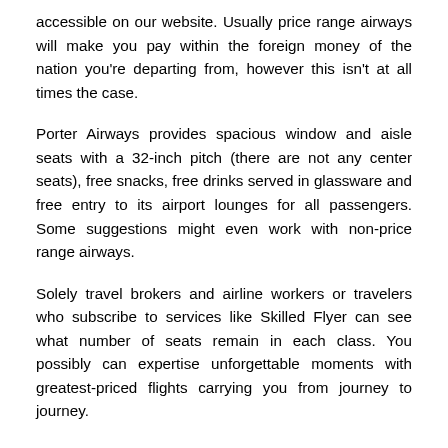accessible on our website. Usually price range airways will make you pay within the foreign money of the nation you're departing from, however this isn't at all times the case.
Porter Airways provides spacious window and aisle seats with a 32-inch pitch (there are not any center seats), free snacks, free drinks served in glassware and free entry to its airport lounges for all passengers. Some suggestions might even work with non-price range airways.
Solely travel brokers and airline workers or travelers who subscribe to services like Skilled Flyer can see what number of seats remain in each class. You possibly can expertise unforgettable moments with greatest-priced flights carrying you from journey to journey.